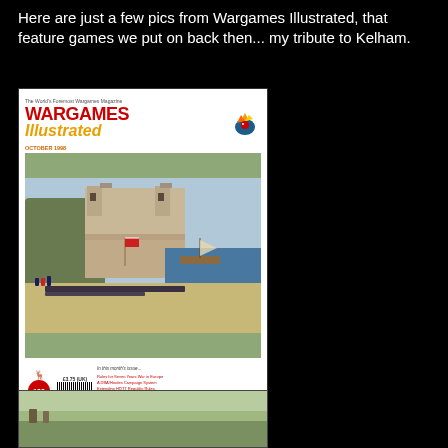Here are just a few pics from Wargames Illustrated, that feature games we put on back then... my tribute to Kelham.
[Figure (photo): Cover of Wargames Illustrated magazine, issue 133, October 1998. The cover shows a wargames miniature battle scene with a coastal fortress, soldiers, and ships. Text reads: 'The World's Foremost Wargames Magazine', 'WARGAMES Illustrated', 'OCTOBER 1998', and lists contents including: Rules for Seven Years War in Europe, A DBA/Hordes Campaign System, Extending HOTT Republic Rules, Masters of the Millennium Tournaments, Darkest Africa Scenarios, ...and more. Full contents Page 11'. Price £3.75 (UK). Issue number 133.]
[Figure (photo): Partial view of another wargames magazine or publication, bottom of page, showing a miniature battle scene with green terrain.]